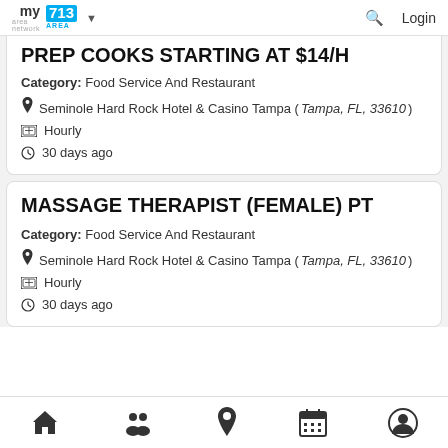my area network | 713 AREA | Login
PREP COOKS STARTING AT $14/H
Category: Food Service And Restaurant
Seminole Hard Rock Hotel & Casino Tampa (Tampa, FL, 33610)
Hourly
30 days ago
MASSAGE THERAPIST (FEMALE) PT
Category: Food Service And Restaurant
Seminole Hard Rock Hotel & Casino Tampa (Tampa, FL, 33610)
Hourly
30 days ago
Home | People | Location | Calendar | Profile